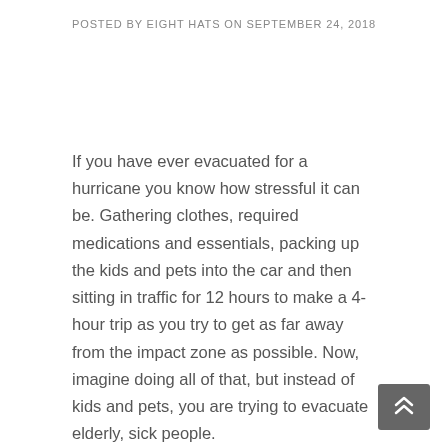POSTED BY EIGHT HATS ON SEPTEMBER 24, 2018
If you have ever evacuated for a hurricane you know how stressful it can be. Gathering clothes, required medications and essentials, packing up the kids and pets into the car and then sitting in traffic for 12 hours to make a 4-hour trip as you try to get as far away from the impact zone as possible. Now, imagine doing all of that, but instead of kids and pets, you are trying to evacuate elderly, sick people.

This is a very real scenario for nursing homes located in areas where hurricanes are a distinct possibility. In recent years, the number and intensity of hurricanes have been increasing. In 2005, Hurricane Katrina, a Category 5 storm devastated the Gulf Coast. In 2017, Hurricane...